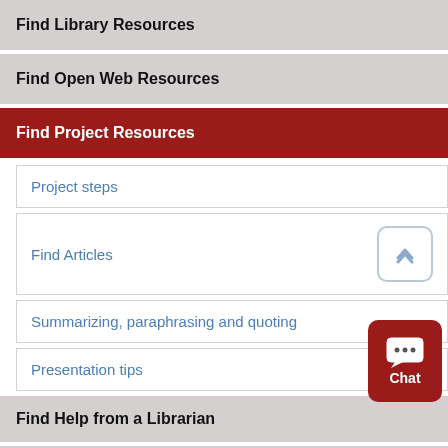Find Library Resources
Find Open Web Resources
Find Project Resources
Project steps
Find Articles
Summarizing, paraphrasing and quoting
Presentation tips
Find Help from a Librarian
Find APA Format Assistance
Find More Citation Assistance